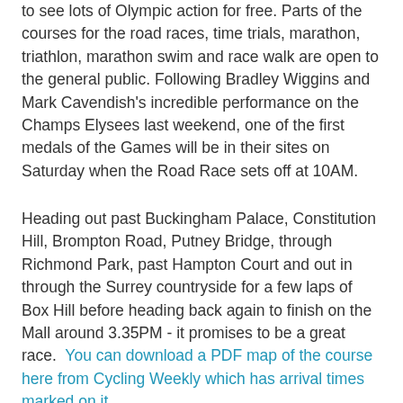to see lots of Olympic action for free.  Parts of the courses for the road races, time trials, marathon, triathlon, marathon swim and race walk are open to the general public.  Following Bradley Wiggins and Mark Cavendish's incredible performance on the Champs Elysees last weekend, one of the first medals of the Games will be in their sites on Saturday when the Road Race sets off at 10AM.
Heading out past Buckingham Palace, Constitution Hill, Brompton Road, Putney Bridge, through Richmond Park, past Hampton Court and out in through the Surrey countryside for a few laps of Box Hill before heading back again to finish on the Mall around 3.35PM - it promises to be a great race.  You can download a PDF map of the course here from Cycling Weekly which has arrival times marked on it.
A quick canvas of my Twitter followers (you did know ibikelondon is on Twitter, didn't you?) revealed that most London cyclists will be staking out three vantage points for